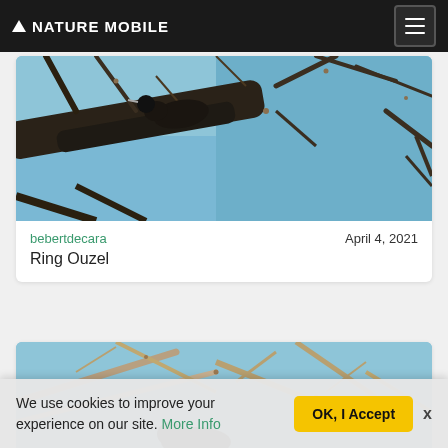NATURE MOBILE
[Figure (photo): Bird perched on bare tree branches against blue sky, close-up view from below]
bebertdecara    April 4, 2021
Ring Ouzel
[Figure (photo): Bird perched on bare tree branches against blue sky, second photo card partially visible]
We use cookies to improve your experience on our site. More Info   OK, I Accept   x